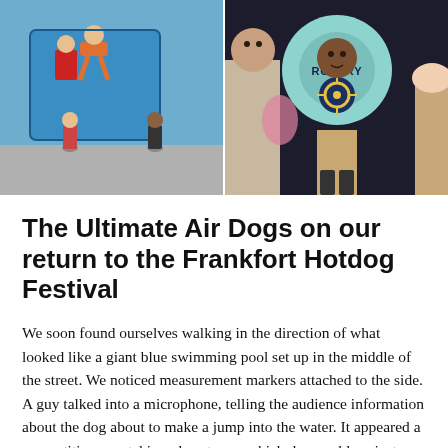[Figure (photo): Two side-by-side photos at the top. Left photo shows children playing near a colorful blue mural/playground artwork outdoors. Right photo shows children dressed in Rotary-themed costumes, one wearing a flower-shaped board with 'ROTARY' written on it and the Rotary wheel logo, another in an ice cream cone costume.]
The Ultimate Air Dogs on our return to the Frankfort Hotdog Festival
We soon found ourselves walking in the direction of what looked like a giant blue swimming pool set up in the middle of the street. We noticed measurement markers attached to the side. A guy talked into a microphone, telling the audience information about the dog about to make a jump into the water. It appeared a competition was taking place to see which dog could project themselves the furthest to retrieve a